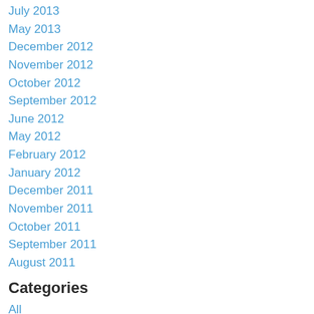July 2013
May 2013
December 2012
November 2012
October 2012
September 2012
June 2012
May 2012
February 2012
January 2012
December 2011
November 2011
October 2011
September 2011
August 2011
Categories
All
Afghan Square
All
All Natural